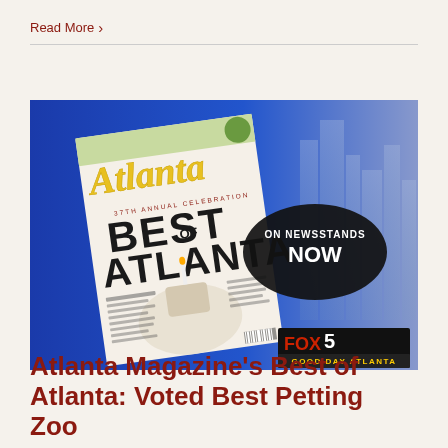Read More ›
[Figure (screenshot): FOX 5 Good Day Atlanta broadcast still showing Atlanta Magazine's 'Best of Atlanta' issue cover with a cupcake on the front, and an 'ON NEWSSTANDS NOW' oval badge overlay. The background is blue with a faint Atlanta skyline silhouette.]
Atlanta Magazine's Best of Atlanta: Voted Best Petting Zoo